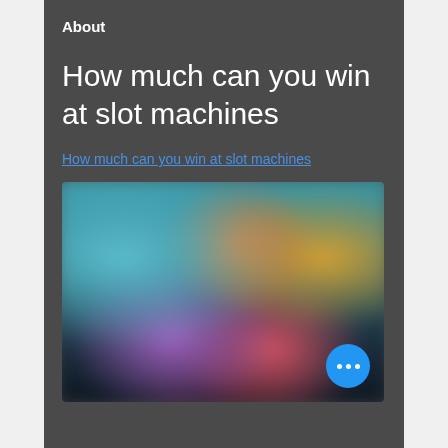About
How much can you win at slot machines
How much can you win at slot machines
[Figure (photo): Blurred screenshot of slot machine or gaming interface with colorful characters and dark background. A blue floating action button with three dots is visible in the bottom right corner.]